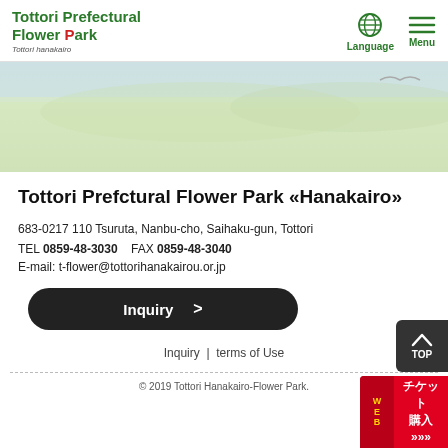Tottori Prefectural Flower Park  Tottori hanakairo | Language | Menu
[Figure (illustration): Hero banner showing a light green landscape/garden background with faint nature imagery]
Tottori Prefctural Flower Park <<Hanakairo>>
683-0217 110 Tsuruta, Nanbu-cho, Saihaku-gun, Tottori
TEL 0859-48-3030    FAX 0859-48-3040
E-mail: t-flower@tottorihanakairou.or.jp
Inquiry →
Inquiry | terms of Use
© 2019 Tottori Hanakairo-Flower Park.